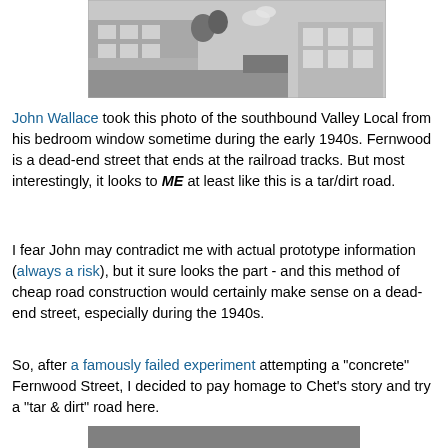[Figure (photo): Black and white photograph of a street scene with buildings and a railroad, taken from a bedroom window during the early 1940s showing the southbound Valley Local.]
John Wallace took this photo of the southbound Valley Local from his bedroom window sometime during the early 1940s. Fernwood is a dead-end street that ends at the railroad tracks. But most interestingly, it looks to ME at least like this is a tar/dirt road.
I fear John may contradict me with actual prototype information (always a risk), but it sure looks the part - and this method of cheap road construction would certainly make sense on a dead-end street, especially during the 1940s.
So, after a famously failed experiment attempting a "concrete" Fernwood Street, I decided to pay homage to Chet's story and try a "tar & dirt" road here.
[Figure (photo): Partial view of a second photograph at the bottom of the page, partially cut off.]